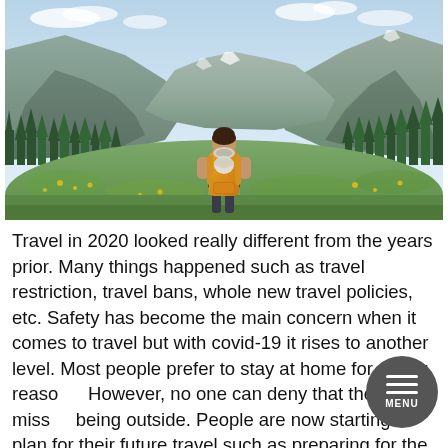[Figure (photo): A hiker with a yellow backpack walking through a lush green mountain valley with wildflowers, evergreen trees on the slopes, and rocky mountains in the background under a partly cloudy sky. View is from behind the hiker.]
Travel in 2020 looked really different from the years prior. Many things happened such as travel restriction, travel bans, whole new travel policies, etc. Safety has become the main concern when it comes to travel but with covid-19 it rises to another level. Most people prefer to stay at home for safety reasons. However, no one can deny that they have missed being outside. People are now starting to plan for their future travel such as preparing for the budget